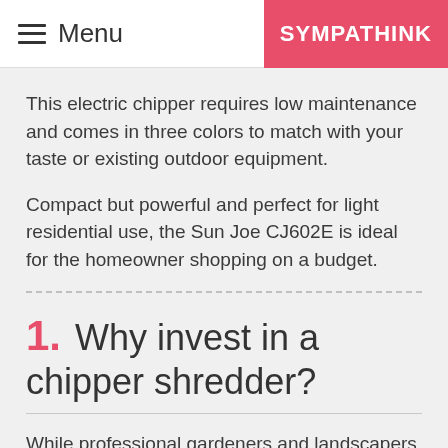Menu | SYMPATHINK
This electric chipper requires low maintenance and comes in three colors to match with your taste or existing outdoor equipment.
Compact but powerful and perfect for light residential use, the Sun Joe CJ602E is ideal for the homeowner shopping on a budget.
1. Why invest in a chipper shredder?
While professional gardeners and landscapers